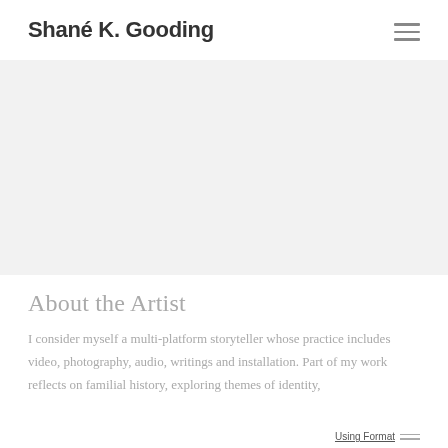Shané K. Gooding
[Figure (photo): Large image area, appears light gray/white, likely a photograph that is mostly white or very light in tone.]
About the Artist
I consider myself a multi-platform storyteller whose practice includes video, photography, audio, writings and installation. Part of my work reflects on familial history, exploring themes of identity,
Using Format